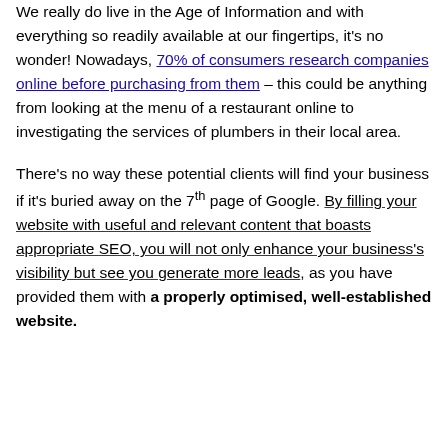We really do live in the Age of Information and with everything so readily available at our fingertips, it's no wonder! Nowadays, 70% of consumers research companies online before purchasing from them – this could be anything from looking at the menu of a restaurant online to investigating the services of plumbers in their local area.
There's no way these potential clients will find your business if it's buried away on the 7th page of Google. By filling your website with useful and relevant content that boasts appropriate SEO, you will not only enhance your business's visibility but see you generate more leads, as you have provided them with a properly optimised, well-established website.